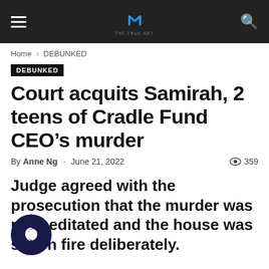THE TRUE NET
Home › DEBUNKED
DEBUNKED
Court acquits Samirah, 2 teens of Cradle Fund CEO's murder
By Anne Ng - June 21, 2022  359
Judge agreed with the prosecution that the murder was premeditated and the house was set on fire deliberately.